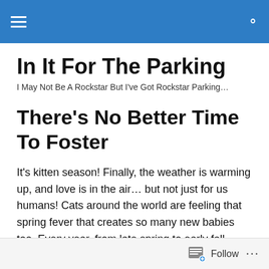In It For The Parking [navigation header with hamburger menu and search icon]
In It For The Parking
I May Not Be A Rockstar But I've Got Rockstar Parking…
There's No Better Time To Foster
It's kitten season! Finally, the weather is warming up, and love is in the air… but not just for us humans! Cats around the world are feeling that spring fever that creates so many new babies too. Every year, from late spring to early fall, animal shelters have a massive influx of homeless
Follow